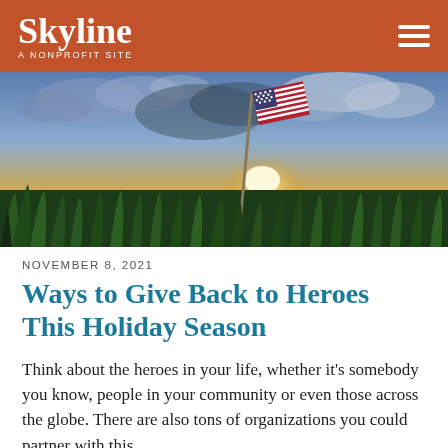Skyline – A NONPROFIT SITE
[Figure (photo): An American flag in a green field at sunset with dramatic clouds in the background, low-angle shot through grass.]
NOVEMBER 8, 2021
Ways to Give Back to Heroes This Holiday Season
Think about the heroes in your life, whether it's somebody you know, people in your community or even those across the globe. There are also tons of organizations you could partner with this